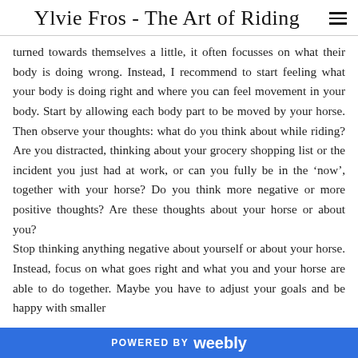Ylvie Fros - The Art of Riding
turned towards themselves a little, it often focusses on what their body is doing wrong. Instead, I recommend to start feeling what your body is doing right and where you can feel movement in your body. Start by allowing each body part to be moved by your horse. Then observe your thoughts: what do you think about while riding? Are you distracted, thinking about your grocery shopping list or the incident you just had at work, or can you fully be in the ‘now’, together with your horse? Do you think more negative or more positive thoughts? Are these thoughts about your horse or about you?
Stop thinking anything negative about yourself or about your horse. Instead, focus on what goes right and what you and your horse are able to do together. Maybe you have to adjust your goals and be happy with smaller
POWERED BY weebly